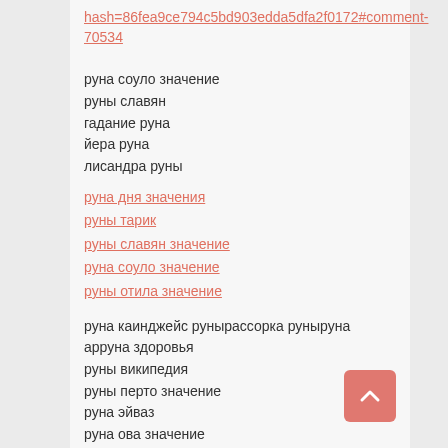hash=86fea9ce794c5bd903edda5dfa2f0172#comment-70534
руна соуло значение
руны славян
гадание руна
йера руна
лисандра руны
руна дня значения
руны тарик
руны славян значение
руна соуло значение
руны отила значение
руна каинджейс рунырассорка руныруна
арруна здоровья
руны википедия
руны перто значение
руна эйваз
руна ова значение